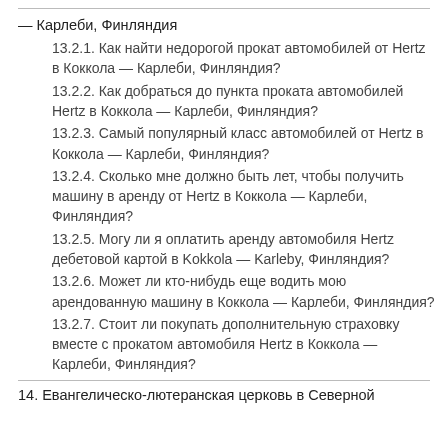— Карлеби, Финляндия
13.2.1. Как найти недорогой прокат автомобилей от Hertz в Коккола — Карлеби, Финляндия?
13.2.2. Как добраться до пункта проката автомобилей Hertz в Коккола — Карлеби, Финляндия?
13.2.3. Самый популярный класс автомобилей от Hertz в Коккола — Карлеби, Финляндия?
13.2.4. Сколько мне должно быть лет, чтобы получить машину в аренду от Hertz в Коккола — Карлеби, Финляндия?
13.2.5. Могу ли я оплатить аренду автомобиля Hertz дебетовой картой в Kokkola — Karleby, Финляндия?
13.2.6. Может ли кто-нибудь еще водить мою арендованную машину в Коккола — Карлеби, Финляндия?
13.2.7. Стоит ли покупать дополнительную страховку вместе с прокатом автомобиля Hertz в Коккола — Карлеби, Финляндия?
14. Евангелическо-лютеранская церковь в Северной ...